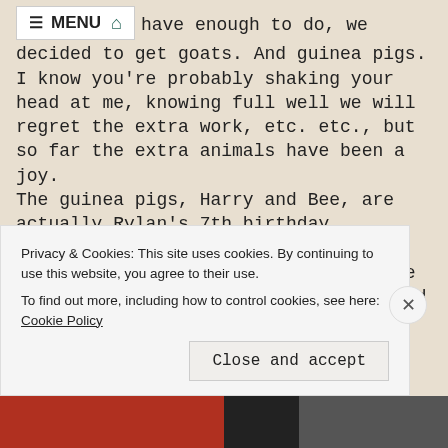have enough to do, we decided to get goats. And guinea pigs.
I know you're probably shaking your head at me, knowing full well we will regret the extra work, etc. etc., but so far the extra animals have been a joy.
The guinea pigs, Harry and Bee, are actually Rylan's 7th birthday presents.
One of my Facebook friends raises the little critters and thankfully steered us toward them rather than hamsters, which is what Rylan originally requested. He loves his new little piggies and so far they aren't too large of a burden.
Privacy & Cookies: This site uses cookies. By continuing to use this website, you agree to their use.
To find out more, including how to control cookies, see here: Cookie Policy
Close and accept